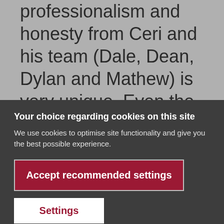professionalism and honesty from Ceri and his team (Dale, Dean, Dylan and Mathew) is very unique. Even the neighbours commented on the high standard of work, punctuality and...
Your choice regarding cookies on this site
We use cookies to optimise site functionality and give you the best possible experience.
Accept recommended settings
Settings